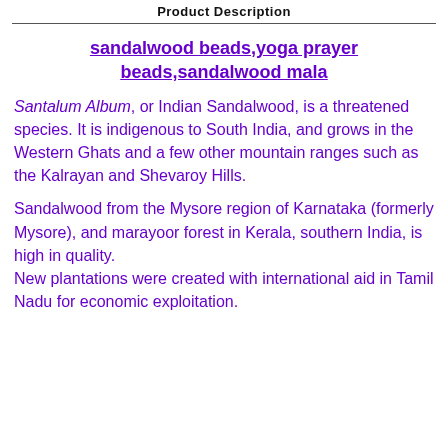Product Description
sandalwood beads,yoga prayer beads,sandalwood mala
Santalum Album, or Indian Sandalwood, is a threatened species. It is indigenous to South India, and grows in the Western Ghats and a few other mountain ranges such as the Kalrayan and Shevaroy Hills.
Sandalwood from the Mysore region of Karnataka (formerly Mysore), and marayoor forest in Kerala, southern India, is high in quality. New plantations were created with international aid in Tamil Nadu for economic exploitation.